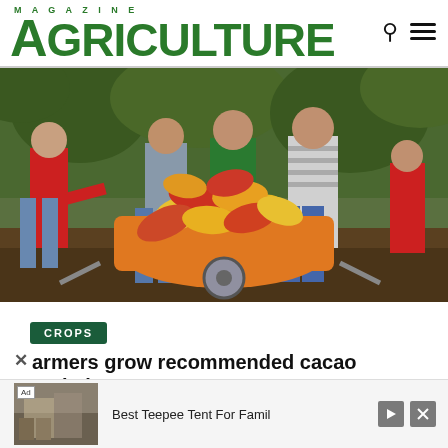MAGAZINE AGRICULTURE
[Figure (photo): Group of farmers loading yellow and red cacao pods into an orange wheelbarrow outdoors in a tropical farm setting. Several people in casual clothing reaching over the loaded wheelbarrow filled with cacao pods.]
CROPS
armers grow recommended cacao varieties
[Figure (other): Advertisement banner: 'Best Teepee Tent For Famil' with small photo of a tent, Ad label, play and close buttons.]